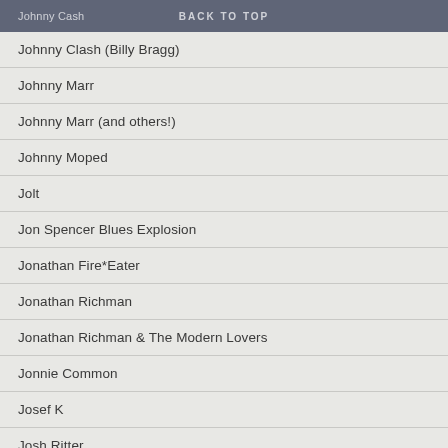Johnny Cash | BACK TO TOP
Johnny Clash (Billy Bragg)
Johnny Marr
Johnny Marr (and others!)
Johnny Moped
Jolt
Jon Spencer Blues Explosion
Jonathan Fire*Eater
Jonathan Richman
Jonathan Richman & The Modern Lovers
Jonnie Common
Josef K
Josh Ritter